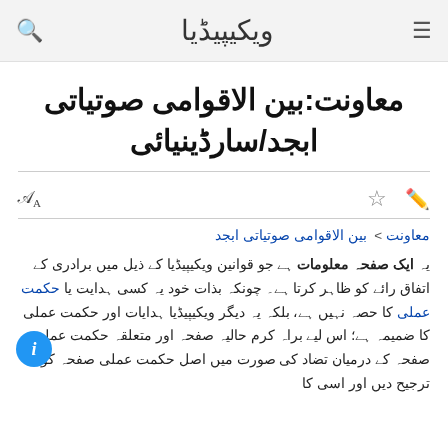ویکیپیڈیا
معاونت:بین الاقوامی صوتیاتی ابجد/سارڈینیائی
معاونت:بین الاقوامی صوتیاتی ابجد > (breadcrumb)
یہ ایک صفحہ معلومات ہے جو قوانین ویکیپیڈیا کے ذیل میں برادری کے اتفاق رائے کو ظاہر کرتا ہے۔ چونکہ بذات خود یہ کسی ہدایت یا حکمت عملی کا حصہ نہیں ہے، بلکہ یہ دیگر ویکیپیڈیا ہدایات اور حکمت عملی کا ضمیمہ ہے؛ اس لیے براہ کرم حالیہ صفحہ اور متعلقہ حکمت عملی صفحہ کے درمیان تضاد کی صورت میں اصل حکمت عملی صفحہ کو ترجیح دیں اور اسی کا